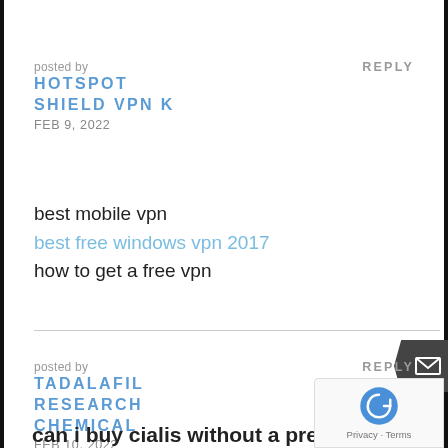posted by
HOTSPOT SHIELD VPN K
FEB 9, 2022
REPLY
best mobile vpn
best free windows vpn 2017
how to get a free vpn
posted by
TADALAFIL RESEARCH CHEMICAL
FEB 10, 2022
REPLY
can i buy cialis without a prescription